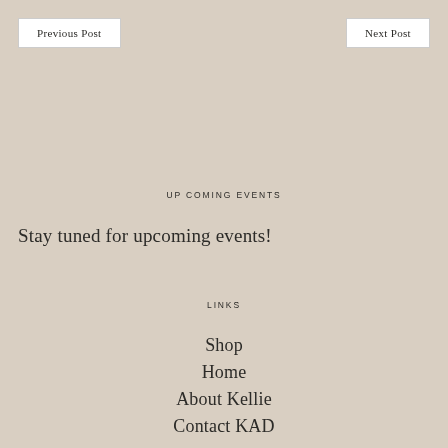Previous Post
Next Post
UP COMING EVENTS
Stay tuned for upcoming events!
LINKS
Shop
Home
About Kellie
Contact KAD